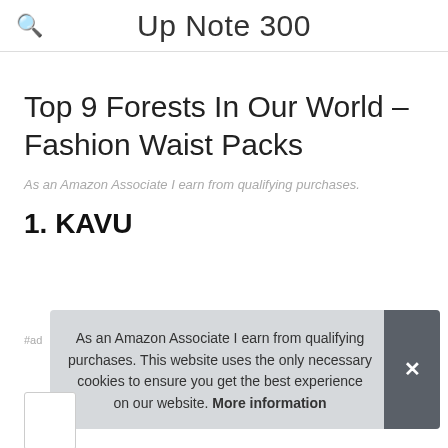Up Note 300
Top 9 Forests In Our World – Fashion Waist Packs
As an Amazon Associate I earn from qualifying purchases.
1. KAVU
#ad
As an Amazon Associate I earn from qualifying purchases. This website uses the only necessary cookies to ensure you get the best experience on our website. More information